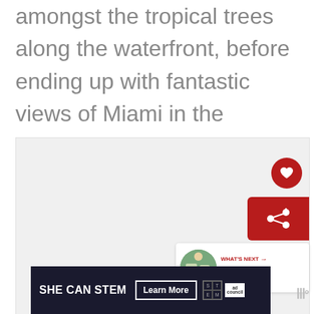amongst the tropical trees along the waterfront, before ending up with fantastic views of Miami in the distance! Admission is $5 on weekdays and $7 on weekends.
[Figure (other): A large light gray image placeholder box with a heart (favorite) button, a share button panel in red, and a 'What's Next' recommendation panel showing a thumbnail and text '27+ THINGS TO DO IN...']
[Figure (other): An advertisement banner reading 'SHE CAN STEM' with a 'Learn More' button, STEM logo grid, Ad Council logo]